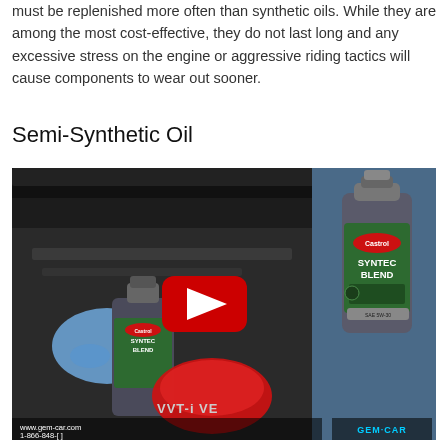must be replenished more often than synthetic oils. While they are among the most cost-effective, they do not last long and any excessive stress on the engine or aggressive riding tactics will cause components to wear out sooner.
Semi-Synthetic Oil
[Figure (screenshot): Video thumbnail showing a YouTube video of Castrol Syntec Blend semi-synthetic motor oil being poured into a car engine. A blue-gloved hand holds a Castrol Syntec Blend oil bottle over the engine bay. A red YouTube play button overlay is visible in the center. The right side shows a standalone Castrol Syntec Blend bottle. The lower left corner shows 'www.gem-car.com 1-866-848-[number]' and lower right shows 'GEM CAR' logo.]